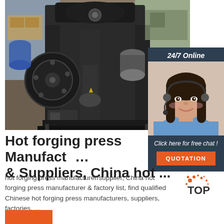[Figure (photo): Industrial hot forging press machine photographed in a factory setting, large black mechanical press with various components visible]
[Figure (infographic): 24/7 Online chat widget with a female customer service agent wearing a headset, dark navy background, 'Click here for free chat!' text, and orange QUOTATION button]
Hot forging press Manufacturers & Suppliers, China hot ...
hot forging press manufacturer/supplier, China hot forging press manufacturer & factory list, find qualified Chinese hot forging press manufacturers, suppliers, factories, ...
[Figure (logo): TOP logo badge with orange dot/splash design]